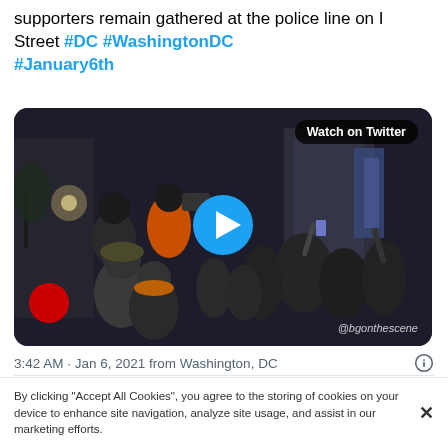supporters remain gathered at the police line on I Street #DC #WashingtonDC #January6th
[Figure (screenshot): Video thumbnail showing a crowd gathered at night on a street in Washington DC, with camera crews and people in winter clothing. A blue play button circle is overlaid in the center. 'Watch on Twitter' badge in top right. Watermark '@bgonthescene' in bottom right corner.]
3:42 AM · Jan 6, 2021 from Washington, DC
1.1K   Reply   Copy link
By clicking "Accept All Cookies", you agree to the storing of cookies on your device to enhance site navigation, analyze site usage, and assist in our marketing efforts.